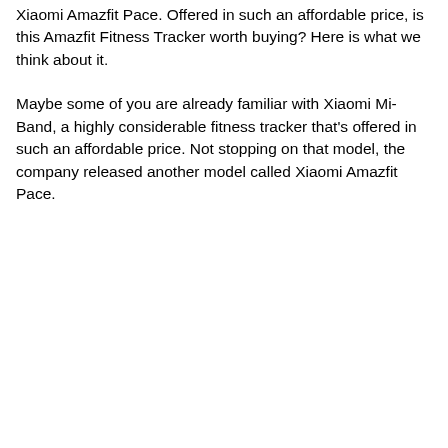Xiaomi Amazfit Pace. Offered in such an affordable price, is this Amazfit Fitness Tracker worth buying? Here is what we think about it.
Maybe some of you are already familiar with Xiaomi Mi-Band, a highly considerable fitness tracker that's offered in such an affordable price. Not stopping on that model, the company released another model called Xiaomi Amazfit Pace.